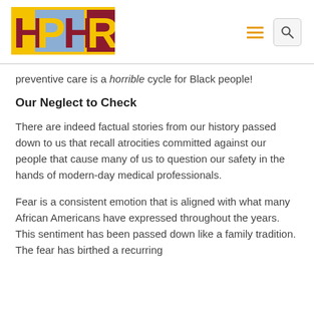[Figure (logo): HPHR logo with colorful block letters on yellow, blue, and red background]
preventive care is a horrible cycle for Black people!
Our Neglect to Check
There are indeed factual stories from our history passed down to us that recall atrocities committed against our people that cause many of us to question our safety in the hands of modern-day medical professionals.
Fear is a consistent emotion that is aligned with what many African Americans have expressed throughout the years. This sentiment has been passed down like a family tradition. The fear has birthed a recurring